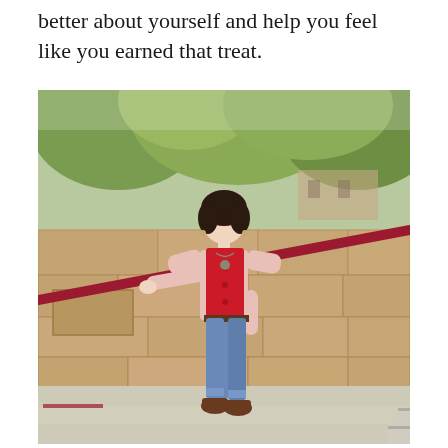better about yourself and help you feel like you earned that treat.
[Figure (photo): A woman with short dark hair wearing a red puffer vest over a pink sweater, blue jeans, and brown ankle boots, leaning against a stone wall with a red railing on outdoor steps. Green leafy trees visible in the background.]